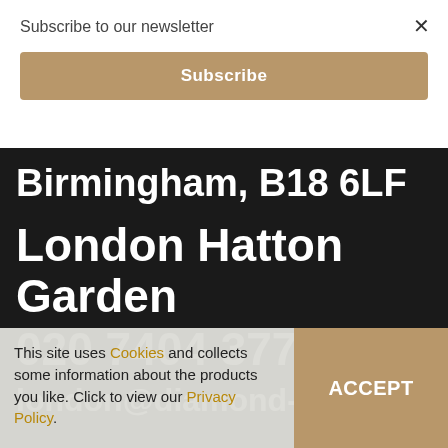Subscribe to our newsletter
Subscribe
Birmingham, B18 6LF
London Hatton Garden
020 7404 3777
london@diamond-heaven.co.uk
This site uses Cookies and collects some information about the products you like. Click to view our Privacy Policy.
ACCEPT